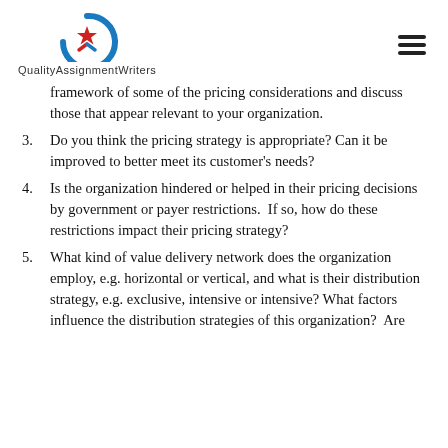[Figure (logo): QualityAssignmentWriters logo with circular arrow and star icon, text reads QualityAssignmentWriters]
framework of some of the pricing considerations and discuss those that appear relevant to your organization.
3. Do you think the pricing strategy is appropriate? Can it be improved to better meet its customer's needs?
4. Is the organization hindered or helped in their pricing decisions by government or payer restrictions.  If so, how do these restrictions impact their pricing strategy?
5. What kind of value delivery network does the organization employ, e.g. horizontal or vertical, and what is their distribution strategy, e.g. exclusive, intensive or intensive? What factors influence the distribution strategies of this organization?  Are